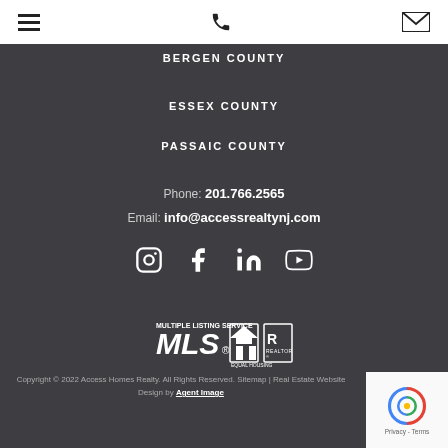Navigation header with hamburger menu, phone icon, and email icon
BERGEN COUNTY
ESSEX COUNTY
PASSAIC COUNTY
Phone: 201.766.2565
Email: info@accessrealtynj.com
[Figure (infographic): Social media icons: Instagram, Facebook, LinkedIn, YouTube]
[Figure (logo): MLS, Equal Housing, Realtor logos]
Copyright © 2022 Access Homes Realty. All Rights Reserved. Sitemap | Real Estate Website Design by Agent Image